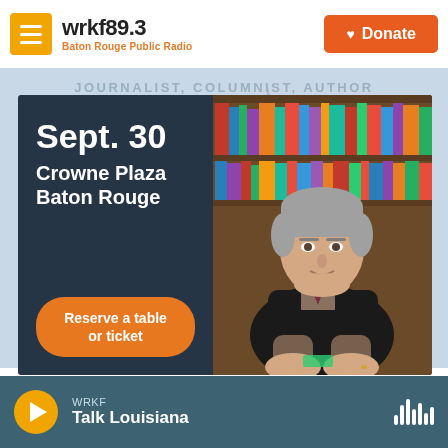wrkf89.3 Baton Rouge Public Radio | Donate
[Figure (screenshot): Event advertisement for WRKF featuring journalist/columnist/author. Date: Sept. 30, Crowne Plaza Baton Rouge. Orange button: Reserve a table or ticket. Right side shows photo of older gentleman seated in front of bookshelves.]
JOURNALIST, COLUMNIST, AUTHOR
Sept. 30
Crowne Plaza Baton Rouge
Reserve a table or ticket
WRKF · Talk Louisiana